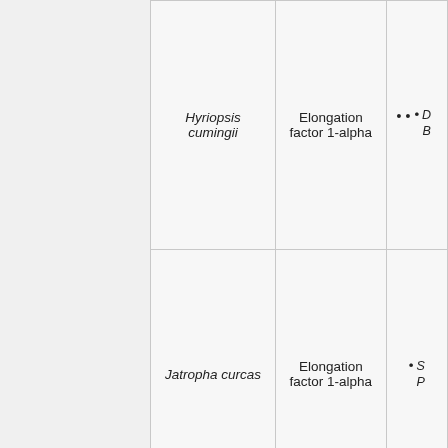| Species | Gene | References |
| --- | --- | --- |
| Hyriopsis cumingii | Elongation factor 1-alpha | D... B... |
| Jatropha curcas | Elongation factor 1-alpha | S... P... |